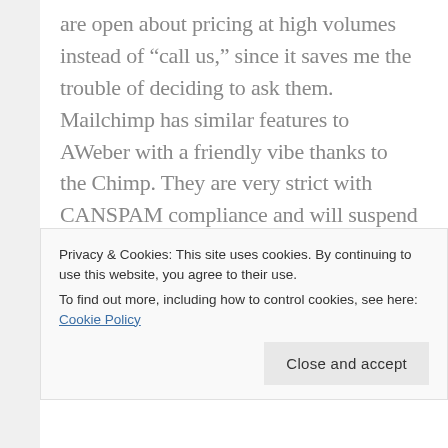are open about pricing at high volumes instead of “call us,” since it saves me the trouble of deciding to ask them. Mailchimp has similar features to AWeber with a friendly vibe thanks to the Chimp. They are very strict with CANSPAM compliance and will suspend you for even inadvertent low deliverability stats. My take: MailChimp is a much better starting point for SMBs or small
Privacy & Cookies: This site uses cookies. By continuing to use this website, you agree to their use.
To find out more, including how to control cookies, see here: Cookie Policy